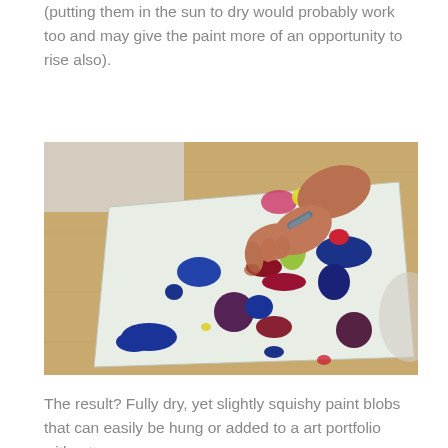(putting them in the sun to dry would probably work too and may give the paint more of an opportunity to rise also).
[Figure (photo): A child's hand pressing paint blobs onto a large sheet of light-colored paper on a wooden table. The paper shows various paint blobs and prints in blue, dark red/maroon, yellow-green, and purple colors.]
The result? Fully dry, yet slightly squishy paint blobs that can easily be hung or added to a art portfolio without